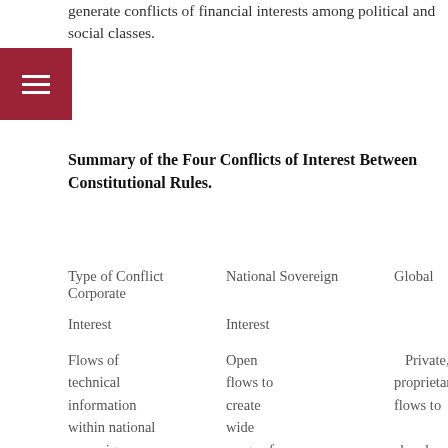generate conflicts of financial interests among political and social classes.
Summary of the Four Conflicts of Interest Between Constitutional Rules.
| Type of Conflict | National Sovereign Interest | Global Corporate Interest |
| --- | --- | --- |
| Flows of technical information within national sovereign | Open flows to create wide range of new | Private, proprietary flows to absorb internal benefits of technology |